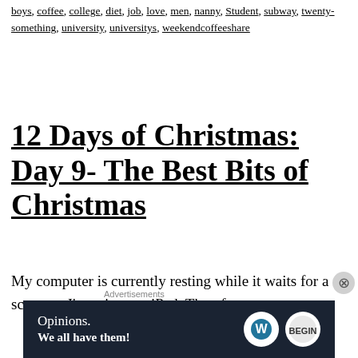boys, coffee, college, diet, job, love, men, nanny, Student, subway, twenty-something, university, universitys, weekendcoffeeshare
12 Days of Christmas: Day 9- The Best Bits of Christmas
My computer is currently resting while it waits for a screw so I'm using my iPad. Therefore,
[Figure (other): Advertisement banner: dark navy background with 'Opinions. We all have them!' text in white and WordPress logo icons]